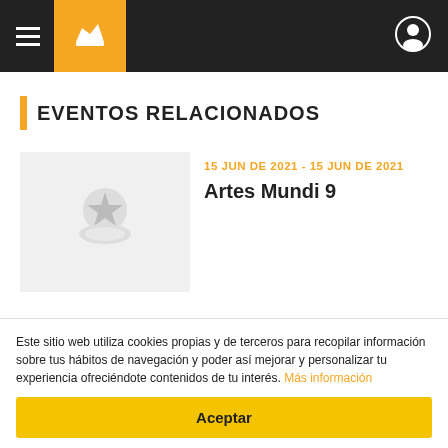[Figure (screenshot): Top navigation bar with hamburger menu, orange logo box with crown icon, and user profile icon on right]
EVENTOS RELACIONADOS
[Figure (illustration): Event thumbnail placeholder with gray laurel wreath and star icon]
15 JUN DE 2021 - 15 JUN DE 2021
Artes Mundi 9
[Figure (illustration): Event thumbnail placeholder with gray laurel wreath and star icon]
17 MAR DE 2015 - 15 MAY DE 2015
Artes Mundi 7
Este sitio web utiliza cookies propias y de terceros para recopilar información sobre tus hábitos de navegación y poder así mejorar y personalizar tu experiencia ofreciéndote contenidos de tu interés. Más información
Aceptar